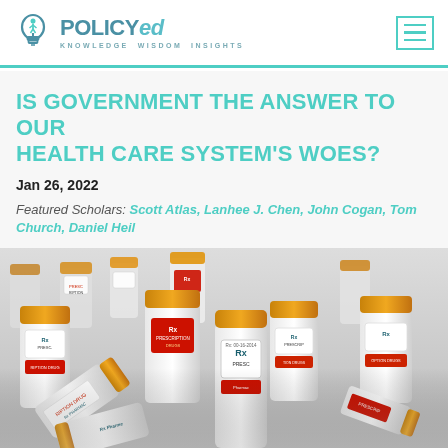POLICYed — KNOWLEDGE WISDOM INSIGHTS
IS GOVERNMENT THE ANSWER TO OUR HEALTH CARE SYSTEM'S WOES?
Jan 26, 2022
Featured Scholars: Scott Atlas, Lanhee J. Chen, John Cogan, Tom Church, Daniel Heil
[Figure (photo): Large array of white and orange prescription drug bottles scattered and piled together, some with red labels reading 'PRESCRIPTION DRUGS' and Rx logos.]